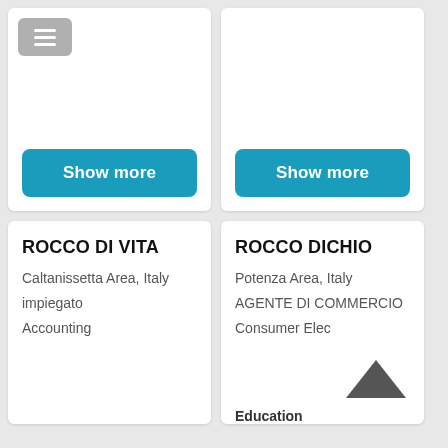[Figure (screenshot): Top-left card with menu hamburger icon button and a 'Show more' teal button at the bottom]
[Figure (screenshot): Top-right card with a 'Show more' teal button at the bottom]
ROCCO DI VITA
Caltanissetta Area, Italy
impiegato
Accounting
ROCCO DICHIO
Potenza Area, Italy
AGENTE DI COMMERCIO
Consumer Electronics
Education